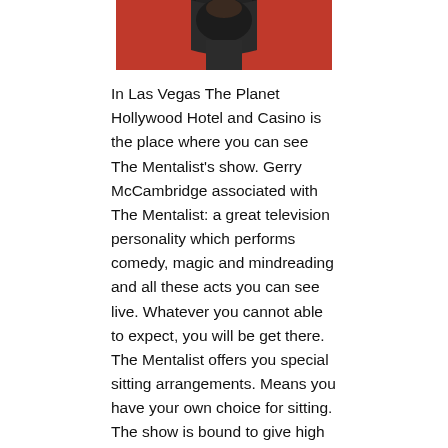[Figure (photo): Partial photo of a person with dark hair against a red background, cropped at the top of the page]
In Las Vegas The Planet Hollywood Hotel and Casino is the place where you can see The Mentalist's show. Gerry McCambridge associated with The Mentalist: a great television personality which performs comedy, magic and mindreading and all these acts you can see live. Whatever you cannot able to expect, you will be get there. The Mentalist offers you special sitting arrangements. Means you have your own choice for sitting. The show is bound to give high level of interactive participation. If You wish you can take advantage of